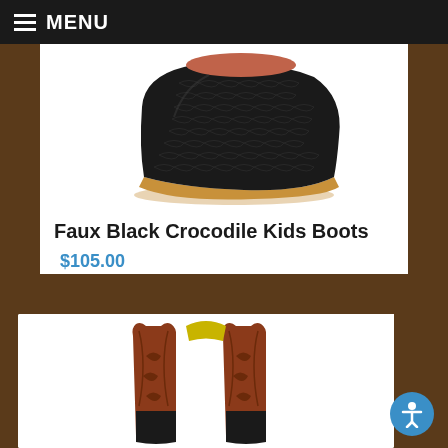MENU
[Figure (photo): Black faux crocodile leather kids boot shoe, side view on white background]
Faux Black Crocodile Kids Boots
$105.00
SELECT OPTIONS
[Figure (photo): Brown and black cowboy boots with decorative stitching and yellow toe accent, front view on white background]